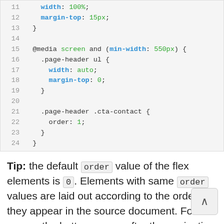[Figure (screenshot): Code block showing CSS lines 11–24: width, margin-top properties, @media screen and (min-width: 550px) rule with .page-header ul and .page-header .cta-contact selectors and order property.]
Tip: the default order value of the flex elements is 0. Elements with same order values are laid out according to the order they appear in the source document. For this reason the button comes after the navigation on wide screens (≥ 550px).